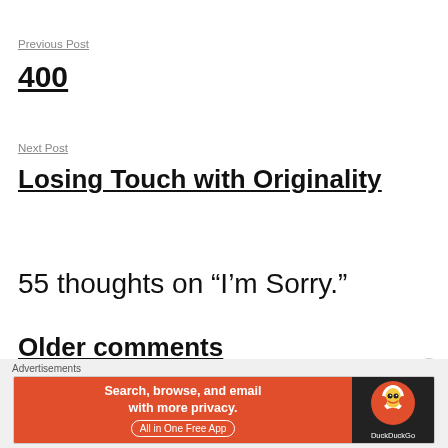Previous Post
400
Next Post
Losing Touch with Originality
55 thoughts on “I’m Sorry.”
Older comments
Advertisements
[Figure (other): DuckDuckGo advertisement banner: orange section reading 'Search, browse, and email with more privacy. All in One Free App' and dark section with DuckDuckGo logo and name]